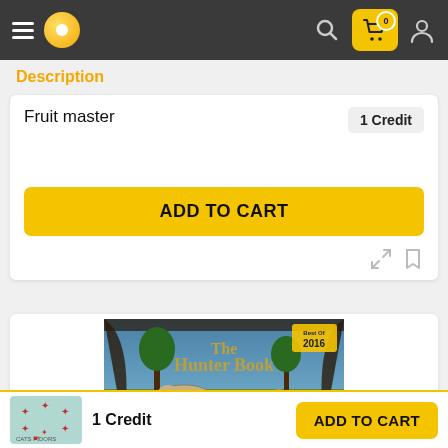[Figure (screenshot): Mobile app navigation bar with hamburger menu, yellow logo, search icon, cart icon with badge showing 0, and user icon]
Description
Fruit master
1 Credit
ADD TO CART
[Figure (screenshot): The Hunter Book 2016 game cover image showing animals in a jungle scene]
1 Credit
ADD TO CART